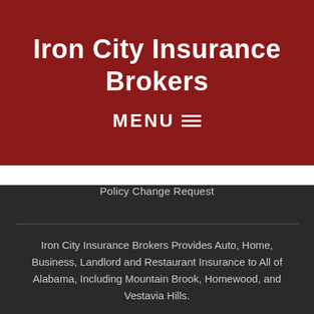Iron City Insurance Brokers
MENU
Policy Change Request
Iron City Insurance Brokers Provides Auto, Home, Business, Landlord and Restaurant Insurance to All of Alabama, Including Mountain Brook, Homewood, and Vestavia Hills.